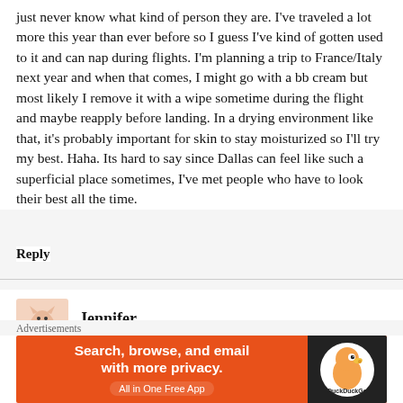just never know what kind of person they are. I've traveled a lot more this year than ever before so I guess I've kind of gotten used to it and can nap during flights. I'm planning a trip to France/Italy next year and when that comes, I might go with a bb cream but most likely I remove it with a wipe sometime during the flight and maybe reapply before landing. In a drying environment like that, it's probably important for skin to stay moisturized so I'll try my best. Haha. Its hard to say since Dallas can feel like such a superficial place sometimes, I've met people who have to look their best all the time.
Reply
Jennifer
October 26, 2013
I keep make-up to a minimal on plane rides: bb cream, masca
[Figure (other): DuckDuckGo advertisement banner: orange background with text 'Search, browse, and email with more privacy. All in One Free App' and DuckDuckGo duck logo on dark right panel.]